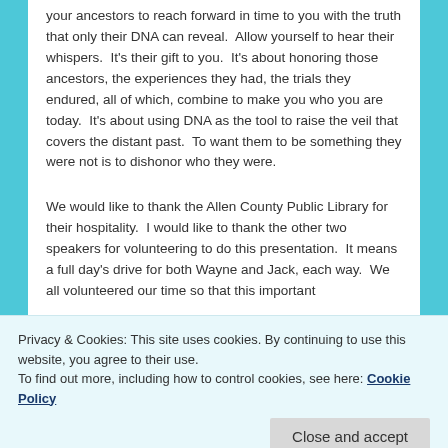your ancestors to reach forward in time to you with the truth that only their DNA can reveal.  Allow yourself to hear their whispers.  It's their gift to you.  It's about honoring those ancestors, the experiences they had, the trials they endured, all of which, combine to make you who you are today.  It's about using DNA as the tool to raise the veil that covers the distant past.  To want them to be something they were not is to dishonor who they were.
We would like to thank the Allen County Public Library for their hospitality.  I would like to thank the other two speakers for volunteering to do this presentation.  It means a full day's drive for both Wayne and Jack, each way.  We all volunteered our time so that this important
Privacy & Cookies: This site uses cookies. By continuing to use this website, you agree to their use.
To find out more, including how to control cookies, see here: Cookie Policy